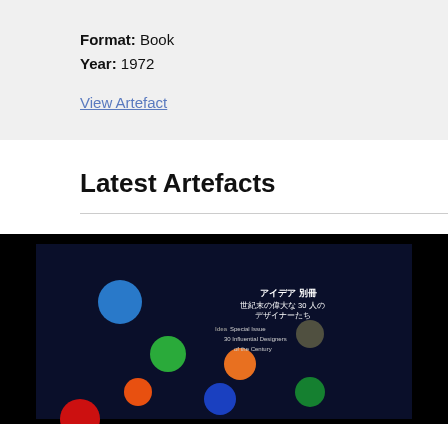Format: Book
Year: 1972
View Artefact
Latest Artefacts
[Figure (photo): Dark background book cover showing the Idea Special Issue: 30 Influential Designers of the Century, with colorful circles (blue, green, orange, red, blue, orange, green, dark gray) arranged on a dark navy/black background with Japanese and English text.]